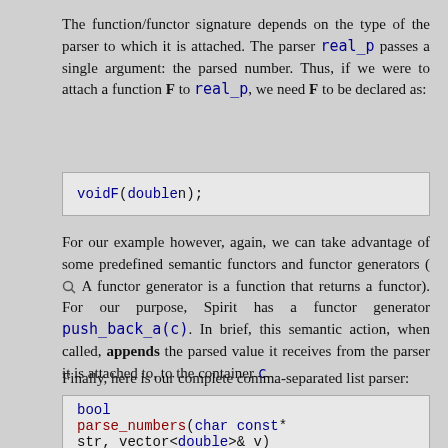The function/functor signature depends on the type of the parser to which it is attached. The parser real_p passes a single argument: the parsed number. Thus, if we were to attach a function F to real_p, we need F to be declared as:
void F(double n);
For our example however, again, we can take advantage of some predefined semantic functors and functor generators ( A functor generator is a function that returns a functor). For our purpose, Spirit has a functor generator push_back_a(c). In brief, this semantic action, when called, appends the parsed value it receives from the parser it is attached to, to the container c.
Finally, here is our complete comma-separated list parser:
bool
parse_numbers(char const* str, vector<double>& v)
{
    return parse(str,

            //  Begin grammar
            (
                real_p[push_back_a(v)] >> *(',' >> re
            )